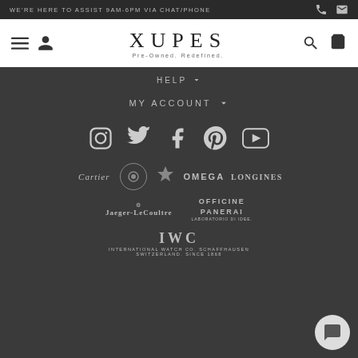WE'RE HERE TO ASSIST 9AM-6PM VIA CHAT/PHONE
[Figure (logo): XUPES Pre-Owned. Redefined. logo with navigation icons]
HELP
MY ACCOUNT
[Figure (infographic): Social media icons: Instagram, Twitter, Facebook, Pinterest, YouTube]
[Figure (infographic): Brand logos row 1: Cartier, unidentified brand, Lapada, Omega, Longines]
[Figure (infographic): Brand logos row 2: Jaeger-LeCoultre, Officine Panerai]
[Figure (infographic): IWC International Watch Co. Schaffhausen Switzerland since 1868 logo]